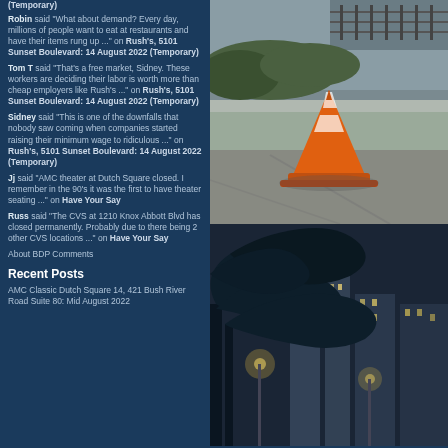(Temporary)
Robin said "What about demand? Every day, millions of people want to eat at restaurants and have their items rung up ..." on Rush's, 5101 Sunset Boulevard: 14 August 2022 (Temporary)
Tom T said "That's a free market, Sidney. These workers are deciding their labor is worth more than cheap employers like Rush's ..." on Rush's, 5101 Sunset Boulevard: 14 August 2022 (Temporary)
Sidney said "This is one of the downfalls that nobody saw coming when companies started raising their minimum wage to ridiculous ..." on Rush's, 5101 Sunset Boulevard: 14 August 2022 (Temporary)
Jj said "AMC theater at Dutch Square closed. I remember in the 90's it was the first to have theater seating ..." on Have Your Say
Russ said "The CVS at 1210 Knox Abbott Blvd has closed permanently. Probably due to there being 2 other CVS locations ..." on Have Your Say
About BDP Comments
Recent Posts
AMC Classic Dutch Square 14, 421 Bush River Road Suite 80: Mid August 2022
[Figure (photo): Orange traffic cone on a sidewalk/street area with concrete curbing and pavement visible, with some greenery in the background]
[Figure (photo): Night or dusk cityscape with tree branches silhouetted in foreground and tall buildings with lights visible in the background]